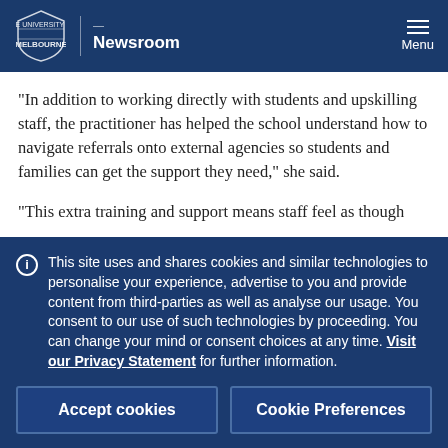Newsroom
“In addition to working directly with students and upskilling staff, the practitioner has helped the school understand how to navigate referrals onto external agencies so students and families can get the support they need,” she said.
“This extra training and support means staff feel as though
This site uses and shares cookies and similar technologies to personalise your experience, advertise to you and provide content from third-parties as well as analyse our usage. You consent to our use of such technologies by proceeding. You can change your mind or consent choices at any time. Visit our Privacy Statement for further information.
Accept cookies
Cookie Preferences